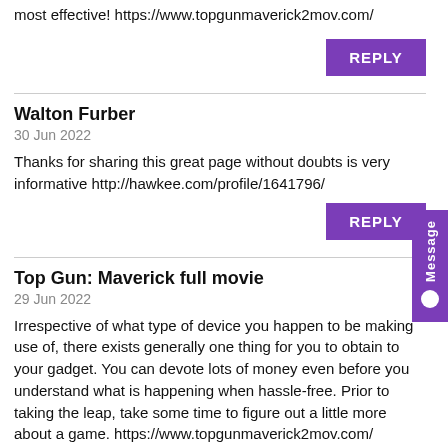most effective! https://www.topgunmaverick2mov.com/
REPLY
Walton Furber
30 Jun 2022
Thanks for sharing this great page without doubts is very informative http://hawkee.com/profile/1641796/
REPLY
Top Gun: Maverick full movie
29 Jun 2022
Irrespective of what type of device you happen to be making use of, there exists generally one thing for you to obtain to your gadget. You can devote lots of money even before you understand what is happening when hassle-free. Prior to taking the leap, take some time to figure out a little more about a game. https://www.topgunmaverick2mov.com/
REPLY